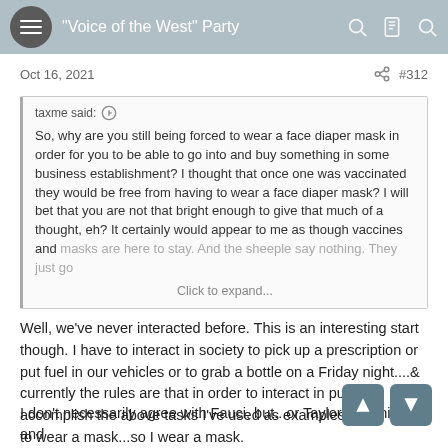"Voice of the West" Party
Oct 16, 2021  #312
taxme said:
So, why are you still being forced to wear a face diaper mask in order for you to be able to go into and buy something in some business establishment? I thought that once one was vaccinated they would be free from having to wear a face diaper mask? I will bet that you are not that bright enough to give that much of a thought, eh? It certainly would appear to me as though vaccines and masks are here to stay. And the sheeple say nothing. They just go
Click to expand...
Well, we've never interacted before. This is an interesting start though. I have to interact in society to pick up a prescription or put fuel in our vehicles or to grab a bottle on a Friday night....& currently the rules are that in order to interact in public to accomplish the above tasks I've used as examples....you have to wear a mask...so I wear a mask.
I don't necessarily agree with Fauci, but...or Taylor. Technically and